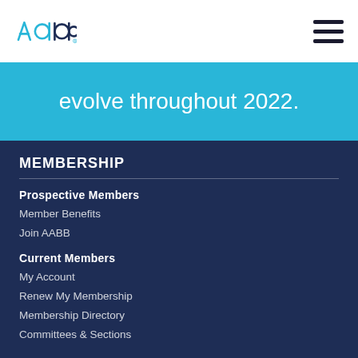AABB logo and navigation menu
evolve throughout 2022.
MEMBERSHIP
Prospective Members
Member Benefits
Join AABB
Current Members
My Account
Renew My Membership
Membership Directory
Committees & Sections